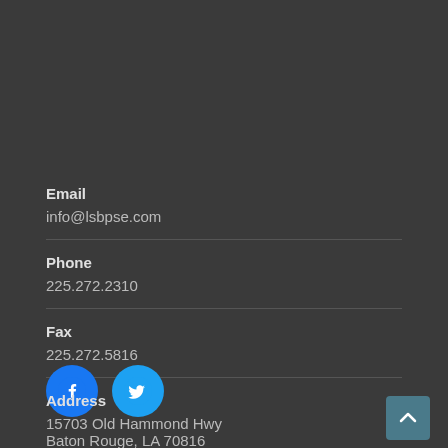Email
info@lsbpse.com
Phone
225.272.2310
Fax
225.272.5816
[Figure (logo): Facebook and Twitter social media icons]
Address
15703 Old Hammond Hwy
Baton Rouge, LA 70816